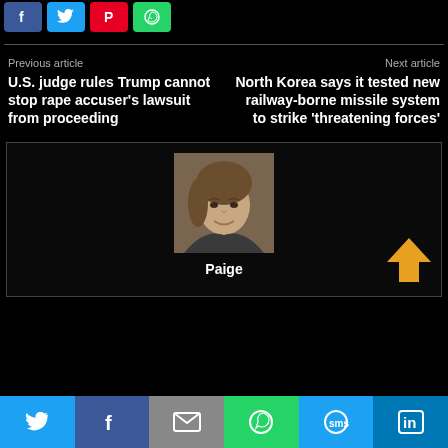[Figure (screenshot): Top social share buttons: Facebook (blue), Twitter (cyan), Pinterest (red), WhatsApp (green)]
Previous article
U.S. judge rules Trump cannot stop rape accuser's lawsuit from proceeding
Next article
North Korea says it tested new railway-borne missile system to strike 'threatening forces'
[Figure (photo): Author profile photo of Paige - woman with shoulder-length brown hair, smiling]
Paige
[Figure (screenshot): Bottom social share bar: Twitter, Facebook, Email, WhatsApp, SMS, LinkedIn]